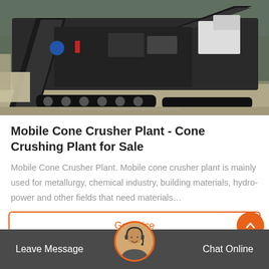[Figure (photo): Photograph of a mobile cone crusher plant machine — large industrial crushing equipment with conveyor belts, tracked undercarriage, in an outdoor yard setting.]
Mobile Cone Crusher Plant - Cone Crushing Plant for Sale
Mobile Cone Crusher Plant. Mobile cone crusher plant is mainly used for metallurgy, chemical industry, building materials, hydro-power and other fields that need materials…
Get Price
Leave Message   Chat Online